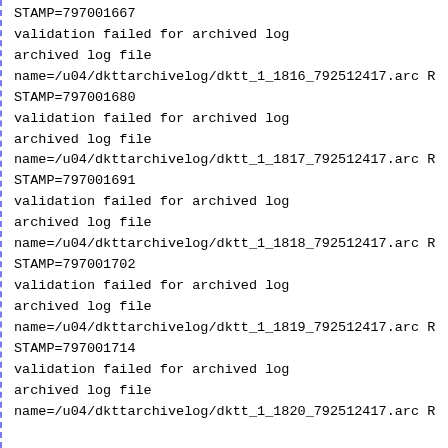STAMP=797001667
validation failed for archived log
archived log file
name=/u04/dkttarchivelog/dktt_1_1816_792512417.arc R
STAMP=797001680
validation failed for archived log
archived log file
name=/u04/dkttarchivelog/dktt_1_1817_792512417.arc R
STAMP=797001691
validation failed for archived log
archived log file
name=/u04/dkttarchivelog/dktt_1_1818_792512417.arc R
STAMP=797001702
validation failed for archived log
archived log file
name=/u04/dkttarchivelog/dktt_1_1819_792512417.arc R
STAMP=797001714
validation failed for archived log
archived log file
name=/u04/dkttarchivelog/dktt_1_1820_792512417.arc R